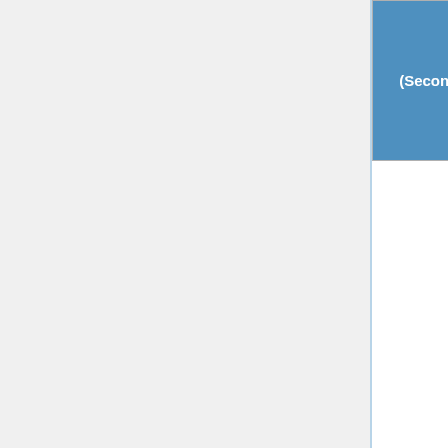| (Secondary) | Field | Value |
| --- | --- | --- |
|  | Secondary contact username | User:DivyaM |
|  | Secondary contact email | divyam@wiki |
*Timeframe should ideally be for a 12 month period that begins after the FDC decision.
Table 2
Currency requested: EUR
Currency requested is defined as the currency in which you wish to receive funds (e.g., EUR, GBP, INR).
Exchange rate used (currency requested to $US) and date accessed